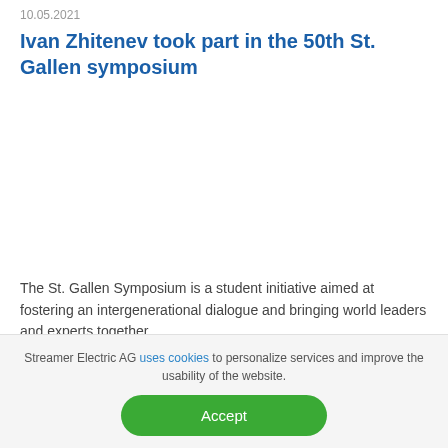10.05.2021
Ivan Zhitenev took part in the 50th St. Gallen symposium
The St. Gallen Symposium is a student initiative aimed at fostering an intergenerational dialogue and bringing world leaders and experts together.
Streamer Electric AG uses cookies to personalize services and improve the usability of the website.